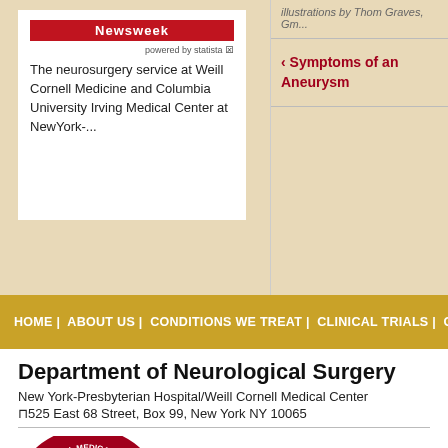The neurosurgery service at Weill Cornell Medicine and Columbia University Irving Medical Center at NewYork-...
‹ Symptoms of an Aneurysm
HOME | ABOUT US | CONDITIONS WE TREAT | CLINICAL TRIALS | GLOSSARY | FO...
Department of Neurological Surgery
New York-Presbyterian Hospital/Weill Cornell Medical Center
⊓525 East 68 Street, Box 99, New York NY 10065
[Figure (logo): Weill Cornell Medical College circular seal logo in red and white, with text around the border]
Weill Cornell Medical College